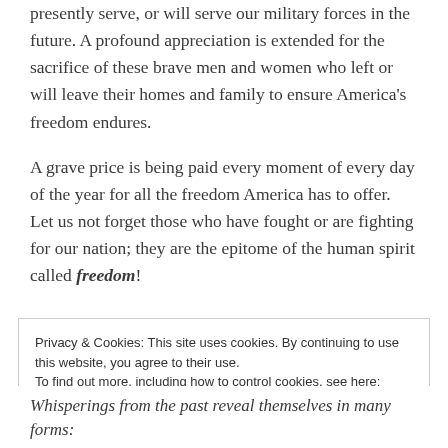presently serve, or will serve our military forces in the future. A profound appreciation is extended for the sacrifice of these brave men and women who left or will leave their homes and family to ensure America's freedom endures.
A grave price is being paid every moment of every day of the year for all the freedom America has to offer. Let us not forget those who have fought or are fighting for our nation; they are the epitome of the human spirit called freedom!
Privacy & Cookies: This site uses cookies. By continuing to use this website, you agree to their use. To find out more, including how to control cookies, see here: Cookie Policy
Close and accept
Whisperings from the past reveal themselves in many forms: